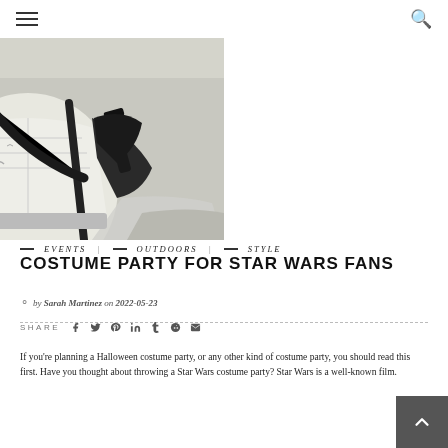Navigation menu and search icon
[Figure (photo): Close-up photo of a Star Wars Stormtrooper costume in white armor with black straps and accessories, holding a weapon]
EVENTS | OUTDOORS | STYLE
COSTUME PARTY FOR STAR WARS FANS
by Sarah Martinez on 2022-05-23
SHARE
If you're planning a Halloween costume party, or any other kind of costume party, you should read this first. Have you thought about throwing a Star Wars costume party? Star Wars is a well-known film.